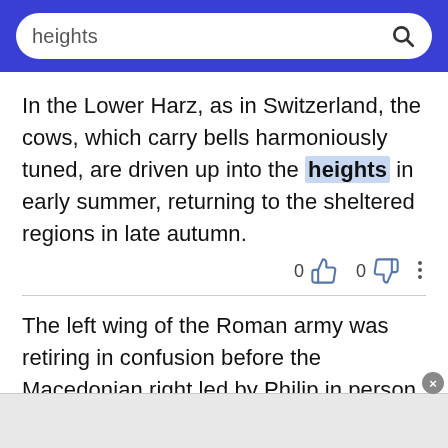heights (search bar)
In the Lower Harz, as in Switzerland, the cows, which carry bells harmoniously tuned, are driven up into the heights in early summer, returning to the sheltered regions in late autumn.
The left wing of the Roman army was retiring in confusion before the Macedonian right led by Philip in person, when Flamininus, leaving them to their fate, boldly charged the left wing under Nicanor, which was forming on the heights.